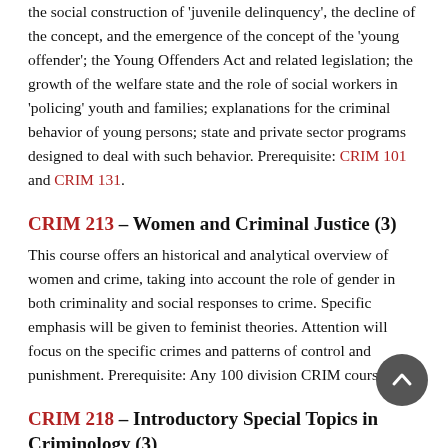the social construction of 'juvenile delinquency', the decline of the concept, and the emergence of the concept of the 'young offender'; the Young Offenders Act and related legislation; the growth of the welfare state and the role of social workers in 'policing' youth and families; explanations for the criminal behavior of young persons; state and private sector programs designed to deal with such behavior. Prerequisite: CRIM 101 and CRIM 131.
CRIM 213 – Women and Criminal Justice (3)
This course offers an historical and analytical overview of women and crime, taking into account the role of gender in both criminality and social responses to crime. Specific emphasis will be given to feminist theories. Attention will focus on the specific crimes and patterns of control and punishment. Prerequisite: Any 100 division CRIM course.
CRIM 218 – Introductory Special Topics in Criminology (3)